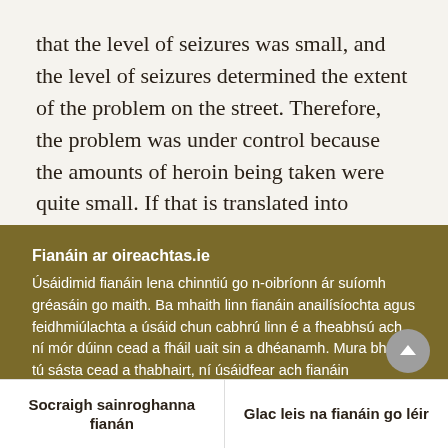that the level of seizures was small, and the level of seizures determined the extent of the problem on the street. Therefore, the problem was under control because the amounts of heroin being taken were quite small. If that is translated into today's context — Deputy Catherine Murphy has drawn attention to it — we have had two seizures of heroin in the past two months, one worth €11 million and another prior to
Fianáin ar oireachtas.ie
Úsáidimid fianáin lena chinntiú go n-oibríonn ár suíomh gréasáin go maith. Ba mhaith linn fianáin anailísíochta agus feidhmiúlachta a úsáid chun cabhrú linn é a fheabhsú ach ní mór dúinn cead a fháil uait sin a dhéanamh. Mura bhfuil tú sásta cead a thabhairt, ní úsáidfear ach fianáin riachtanacha. Léigh tuileadh faoinár bhfianáin
Socraigh sainroghanna fianán
Glac leis na fianáin go léir